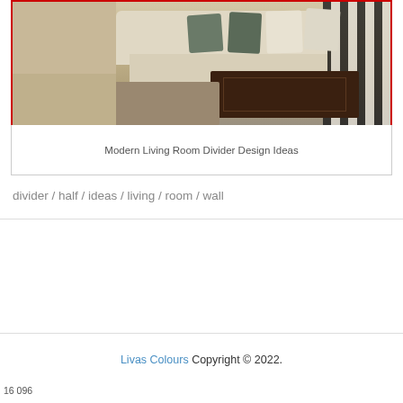[Figure (photo): Interior photo of a modern living room with a beige sofa, dark green and cream pillows, a dark brown coffee table, and striped wallpaper in the background. A photo frame border in red surrounds the image.]
Modern Living Room Divider Design Ideas
divider / half / ideas / living / room / wall
Livas Colours Copyright © 2022.
16 096